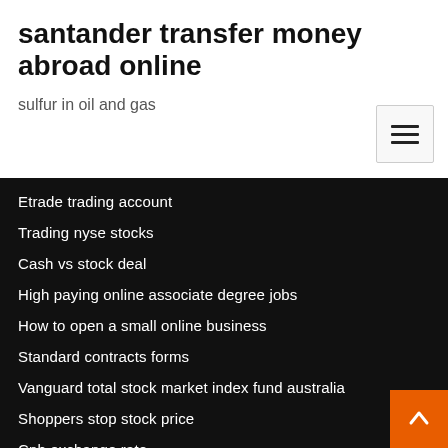santander transfer money abroad online
sulfur in oil and gas
Etrade trading account
Trading nyse stocks
Cash vs stock deal
High paying online associate degree jobs
How to open a small online business
Standard contracts forms
Vanguard total stock market index fund australia
Shoppers stop stock price
Cnh exchange rate